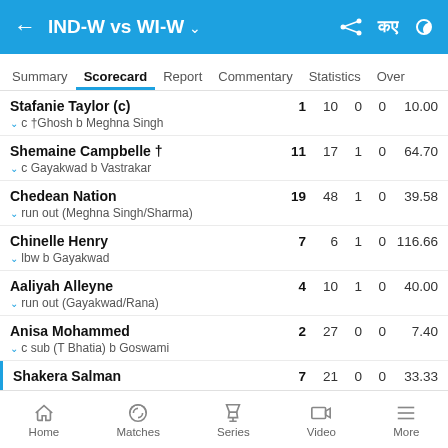IND-W vs WI-W
Summary | Scorecard | Report | Commentary | Statistics | Over
| Player | R | B | 4s | 6s | SR |
| --- | --- | --- | --- | --- | --- |
| Stafanie Taylor (c) | c †Ghosh b Meghna Singh | 1 | 10 | 0 | 0 | 10.00 |
| Shemaine Campbelle † | c Gayakwad b Vastrakar | 11 | 17 | 1 | 0 | 64.70 |
| Chedean Nation | run out (Meghna Singh/Sharma) | 19 | 48 | 1 | 0 | 39.58 |
| Chinelle Henry | lbw b Gayakwad | 7 | 6 | 1 | 0 | 116.66 |
| Aaliyah Alleyne | run out (Gayakwad/Rana) | 4 | 10 | 1 | 0 | 40.00 |
| Anisa Mohammed | c sub (T Bhatia) b Goswami | 2 | 27 | 0 | 0 | 7.40 |
| Shakera Salman | ... | 7 | 21 | 0 | 0 | 33.33 |
Home | Matches | Series | Video | More